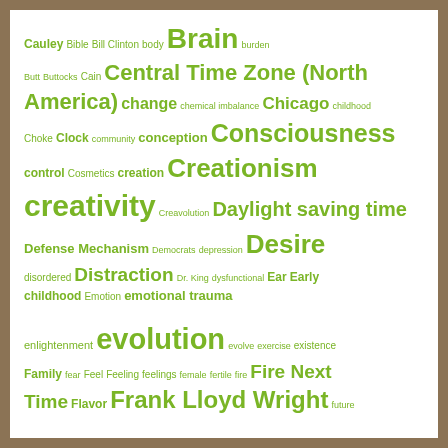[Figure (infographic): Word cloud with green words of varying sizes on white background with brown border frame. Words include: Cauley, Bible, Bill Clinton, body, Brain, burden, Butt, Buttocks, Cain, Central Time Zone (North America), change, chemical imbalance, Chicago, childhood, Choke, Clock, community, conception, Consciousness, control, Cosmetics, creation, Creationism, creativity, Creavolution, Daylight saving time, Defense Mechanism, Democrats, depression, Desire, disordered, Distraction, Dr. King, dysfunctional, Ear, Early childhood, Emotion, emotional trauma, enlightenment, evolution, evolve, exercise, existence, Family, fear, Feel, Feeling, feelings, female, fertile, fire, Fire Next Time, Flavor, Frank Lloyd Wright, future, gatekeepers, genital, genitals, God, good, Grey Matter, grow, Hard, health, healthy-living, hear, Hearing, Hearing (sense), Hope, how to live a better life, hurt, Infant, k, Knowledge, Label, Labiaplasty, Lake Monona, Learning, lemonade, Listen, Little Rock Arkansas, longevity, Looks, Love, Madison, Makeup, male, man, Martin]